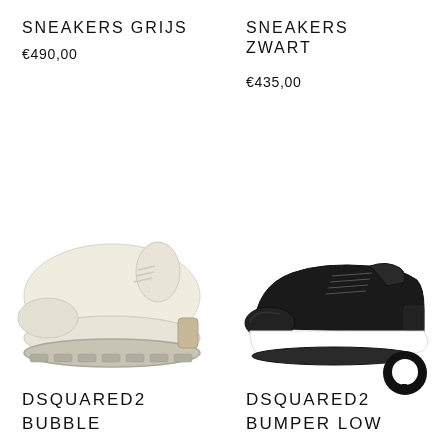SNEAKERS GRIJS
€490,00
SNEAKERS ZWART
€435,00
[Figure (photo): Cream/white chunky Dsquared2 Bubble sneaker with thick ridged sole, viewed from the side]
[Figure (photo): Black leather Dsquared2 Bumper Low sneaker with white midsole, viewed from the side]
DSQUARED2
BUBBLE
DSQUARED2
BUMPER LOW